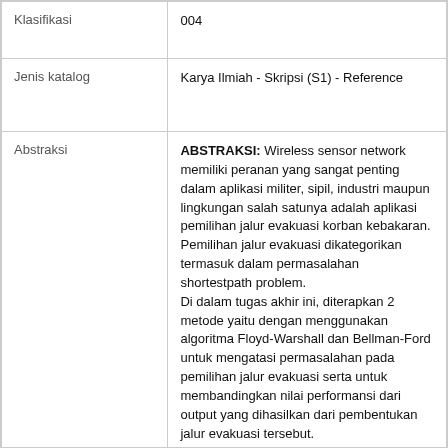| Field | Value |
| --- | --- |
| Klasifikasi | 004 |
| Jenis katalog | Karya Ilmiah - Skripsi (S1) - Reference |
| Abstraksi | ABSTRAKSI: Wireless sensor network memiliki peranan yang sangat penting dalam aplikasi militer, sipil, industri maupun lingkungan salah satunya adalah aplikasi pemilihan jalur evakuasi korban kebakaran. Pemilihan jalur evakuasi dikategorikan termasuk dalam permasalahan shortestpath problem.
Di dalam tugas akhir ini, diterapkan 2 metode yaitu dengan menggunakan algoritma Floyd-Warshall dan Bellman-Ford untuk mengatasi permasalahan pada pemilihan jalur evakuasi serta untuk membandingkan nilai performansi dari output yang dihasilkan dari pembentukan jalur evakuasi tersebut.
Dari hasil simulasi diperoleh kesimpulan bahwa tidak adanya perbedaan dalam hal pembentukan jalur evakuasi beserta nilai performansi baik itu dengan menggunakan algoritma Floyd... |